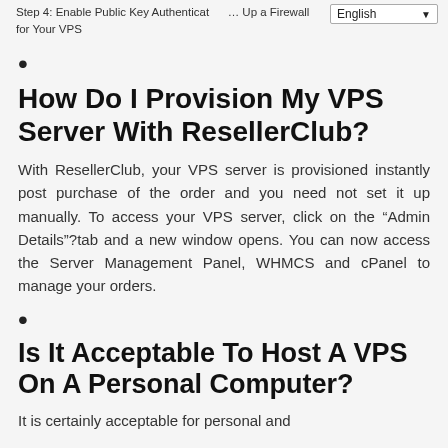Step 4: Enable Public Key Authentication ... Up a Firewall for Your VPS
•
How Do I Provision My VPS Server With ResellerClub?
With ResellerClub, your VPS server is provisioned instantly post purchase of the order and you need not set it up manually. To access your VPS server, click on the “Admin Details” tab and a new window opens. You can now access the Server Management Panel, WHMCS and cPanel to manage your orders.
•
Is It Acceptable To Host A VPS On A Personal Computer?
It is certainly acceptable for personal and